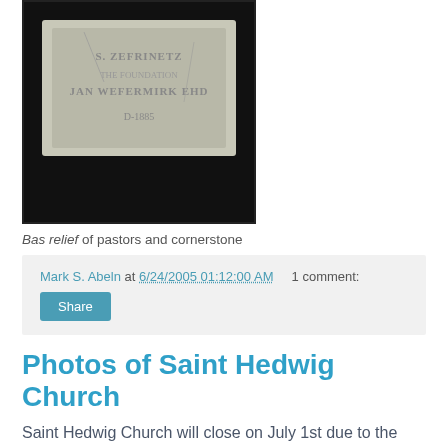[Figure (photo): A stone bas relief carving with engraved text, displayed on a dark background inside a black-bordered frame.]
Bas relief of pastors and cornerstone
Mark S. Abeln at 6/24/2005 01:12:00 AM   1 comment:
Share
Photos of Saint Hedwig Church
Saint Hedwig Church will close on July 1st due to the reorganization of the southside deanery of the Archdiocese of Saint Louis.
[Figure (photo): Partial view of Saint Hedwig Church building with a cross visible at the top, shown in a bordered frame.]